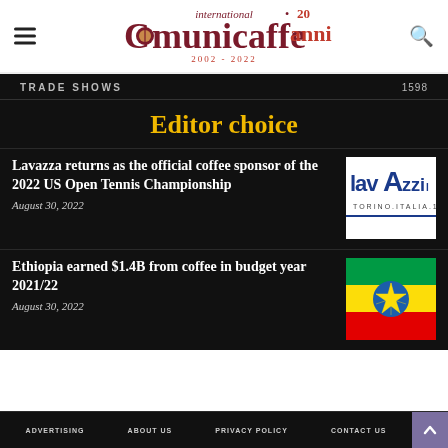international Comunicaffe 20 anni 2002-2022
TRADE SHOWS 1598
Editor choice
Lavazza returns as the official coffee sponsor of the 2022 US Open Tennis Championship
August 30, 2022
[Figure (logo): Lavazza logo: lavAzzi TORINO.ITALIA.1895 on white background]
Ethiopia earned $1.4B from coffee in budget year 2021/22
August 30, 2022
[Figure (illustration): Ethiopian flag: green, yellow, red horizontal stripes with blue circle and yellow star in center]
ADVERTISING   ABOUT US   PRIVACY POLICY   CONTACT US